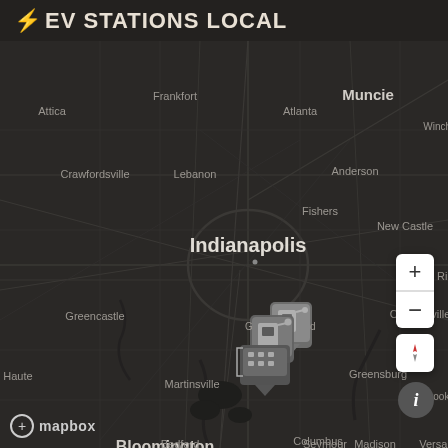⚡ EV STATIONS LOCAL
[Figure (map): Dark-themed Mapbox map centered on Indianapolis, Indiana showing road networks and city labels including Attica, Frankfort, Atlanta, Muncie, Winchester, Crawfordsville, Lebanon, Anderson, Fishers, New Castle, Indianapolis, Greencastle, Connersville, Terre Haute, Martinsville, Greensburg, Brookville, Bloomington, Columbus, Versailles, Seymour, Bedford, Madison, with EV station cluster markers near Greenwood south of Indianapolis.]
mapbox